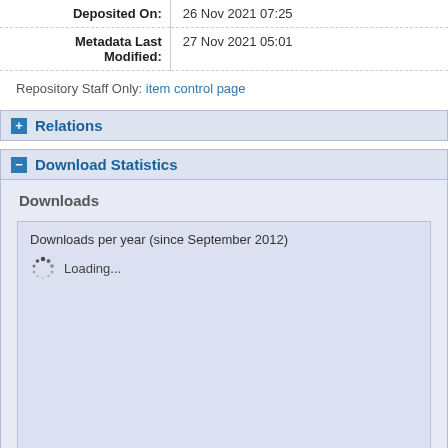| Deposited On: | 26 Nov 2021 07:25 |
| Metadata Last Modified: | 27 Nov 2021 05:01 |
Repository Staff Only: item control page
+ Relations
- Download Statistics
Downloads
[Figure (other): Downloads per year (since September 2012) chart box showing a loading spinner and 'Loading...' text, chart area is empty/loading.]